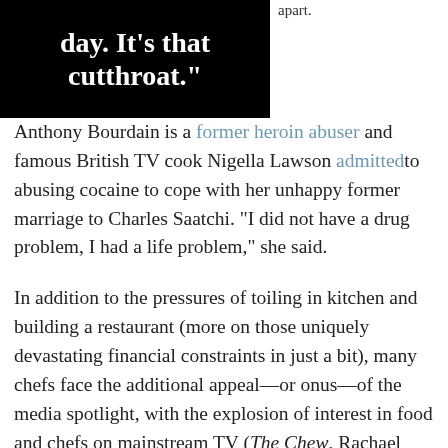[Figure (other): Black box with white bold text reading: day. It's that cutthroat."]
apart.
Anthony Bourdain is a former heroin abuser and famous British TV cook Nigella Lawson admitted to abusing cocaine to cope with her unhappy former marriage to Charles Saatchi. "I did not have a drug problem, I had a life problem," she said.

In addition to the pressures of toiling in kitchen and building a restaurant (more on those uniquely devastating financial constraints in just a bit), many chefs face the additional appeal—or onus—of the media spotlight, with the explosion of interest in food and chefs on mainstream TV (The Chew, Rachael Ray) and specialized channels, like Food Network and the